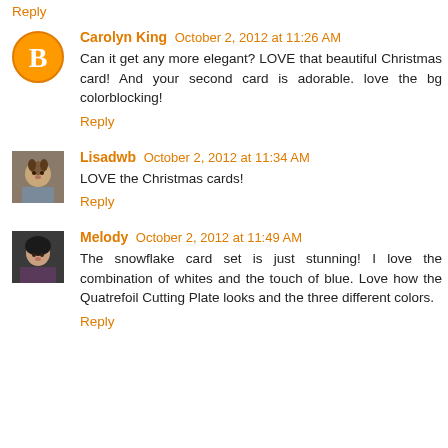Reply
Carolyn King  October 2, 2012 at 11:26 AM
Can it get any more elegant? LOVE that beautiful Christmas card! And your second card is adorable. love the bg colorblocking!
Reply
Lisadwb  October 2, 2012 at 11:34 AM
LOVE the Christmas cards!
Reply
Melody  October 2, 2012 at 11:49 AM
The snowflake card set is just stunning! I love the combination of whites and the touch of blue. Love how the Quatrefoil Cutting Plate looks and the three different colors.
Reply